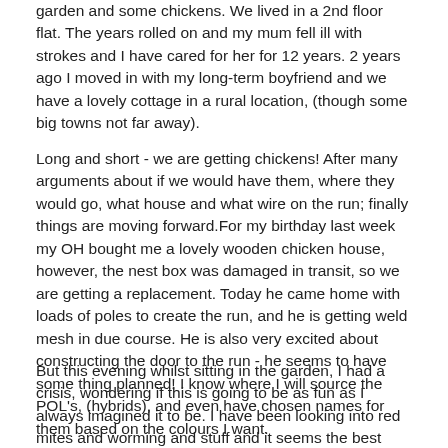garden and some chickens. We lived in a 2nd floor flat. The years rolled on and my mum fell ill with strokes and I have cared for her for 12 years. 2 years ago I moved in with my long-term boyfriend and we have a lovely cottage in a rural location, (though some big towns not far away).
Long and short - we are getting chickens! After many arguments about if we would have them, where they would go, what house and what wire on the run; finally things are moving forward.For my birthday last week my OH bought me a lovely wooden chicken house, however, the nest box was damaged in transit, so we are getting a replacement. Today he came home with loads of poles to create the run, and he is getting weld mesh in due course. He is also very excited about constructing the door to the run - he seems to have some thing planned! I know where I will source the POL's, (hybrids), and even have chosen names for them based on the colours I want.
But this evening whilst sitting in the garden, I had a crisis, wondering if this is going to be as fun as I always imagined it to be. I have been looking into red mites and worming and stuff and it seems the best